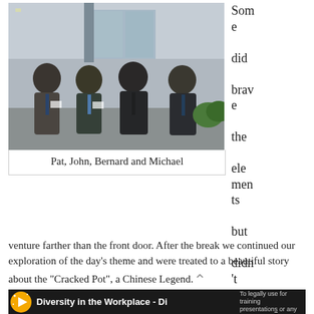[Figure (photo): Four elderly men standing in front of a building entrance, wearing suits and ties. From left to right: Pat, John, Bernard and Michael.]
Pat, John, Bernard and Michael
Some did brave the elements but didn't venture farther than the front door. After the break we continued our exploration of the day’s theme and were treated to a beautiful story about the “Cracked Pot”, a Chinese Legend.
[Figure (screenshot): Video thumbnail for 'Diversity in the Workplace - Di...' with a logo icon and text 'To legally use for training presentations or any']